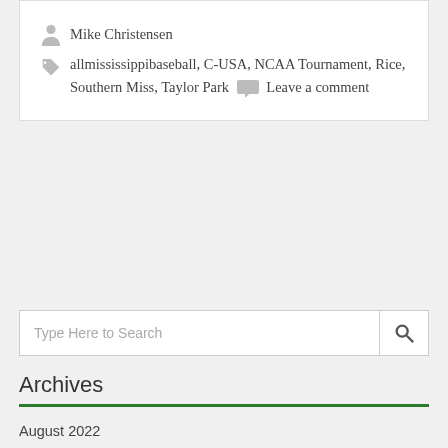Mike Christensen
allmississippibaseball, C-USA, NCAA Tournament, Rice, Southern Miss, Taylor Park  Leave a comment
[Figure (other): Search bar with magnifying glass icon and placeholder text 'Type Here to Search']
Archives
August 2022
July 2022